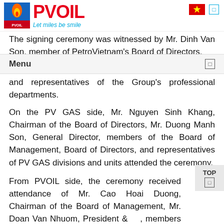PVOIL — Let miles be smile
The signing ceremony was witnessed by Mr. Dinh Van Son, member of PetroVietnam's Board of Directors, and representatives of the Group's professional departments.
On the PV GAS side, Mr. Nguyen Sinh Khang, Chairman of the Board of Directors, Mr. Duong Manh Son, General Director, members of the Board of Management, Board of Directors, and representatives of PV GAS divisions and units attended the ceremony.
From PVOIL side, the ceremony received attendance of Mr. Cao Hoai Duong, Chairman of the Board of Management, Mr. Doan Van Nhuom, President & …, members of the Board of Directors and Board of Management, and representatives of divisions and units of…